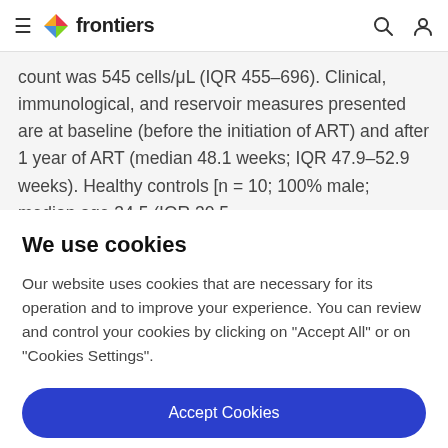frontiers
count was 545 cells/μL (IQR 455–696). Clinical, immunological, and reservoir measures presented are at baseline (before the initiation of ART) and after 1 year of ART (median 48.1 weeks; IQR 47.9–52.9 weeks). Healthy controls [n = 10; 100% male; median age 34.5 (IQR 30.5
We use cookies
Our website uses cookies that are necessary for its operation and to improve your experience. You can review and control your cookies by clicking on "Accept All" or on "Cookies Settings".
Accept Cookies
Cookies Settings